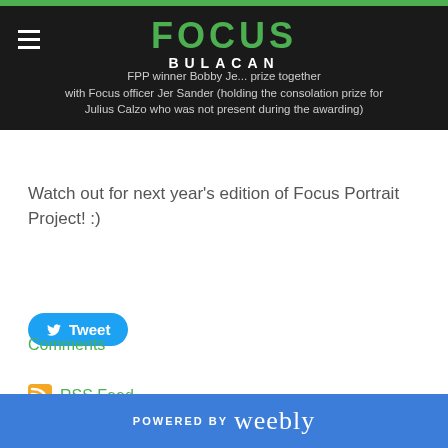FOCUS BULACAN
FPP winner Bobby Je... prize together with Focus officer Jer Sander (holding the consolation prize for Julius Calzo who was not present during the awarding)
Watch out for next year's edition of Focus Portrait Project! :)
[Figure (other): Tweet button - blue rounded button with Twitter bird icon and 'Tweet' text]
Comments
[Figure (other): RSS Feed link with orange RSS icon]
POWERED BY weebly